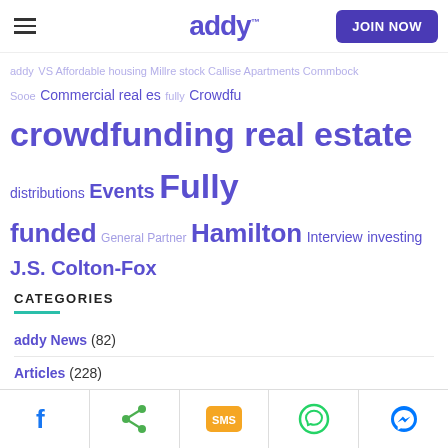addy - JOIN NOW
[Figure (infographic): Word cloud / tag cloud with real estate investment related tags in purple/violet tones. Tags include: addy, Affordable housing, Millre stock, Callise Apartments, Commbock, Sooe, Commercial real estate, Fully, Crowdfunding, crowdfunding real estate, distributions, Events, Fully funded, General Partner, Hamilton, Interview, investing, J.S. Colton-Fox, Maple View Heights, Membership, Michael Stephenson, Mission, Montebello, Montreal, Online investing, Owners' Day, Park at Willowglen, Passive income, Prop drop, Properties, real estate, Real estate investing, Referral, Sherbrooke, Smart hotel, Sooke, Starbucks, Vernon]
CATEGORIES
addy News (82)
Articles (228)
Social share bar: Facebook, Share, SMS, WhatsApp, Messenger